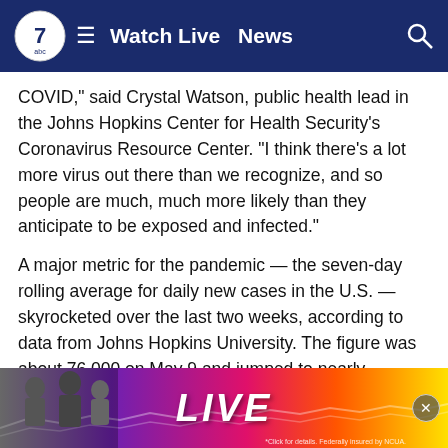Watch Live  News
COVID," said Crystal Watson, public health lead in the Johns Hopkins Center for Health Security's Coronavirus Resource Center. "I think there's a lot more virus out there than we recognize, and so people are much, much more likely than they anticipate to be exposed and infected."
A major metric for the pandemic — the seven-day rolling average for daily new cases in the U.S. — skyrocketed over the last two weeks, according to data from Johns Hopkins University. The figure was about 76,000 on May 9 and jumped to nearly 109,000 on Monday. That was the highest it had been since mid-February, when the omicron-fueled surge was winding down.
Deaths are still on the decline and hospital intensive care units a...uring the pa...unity
[Figure (other): Advertisement banner with LIVE text overlay and people silhouettes, colorful gradient background]